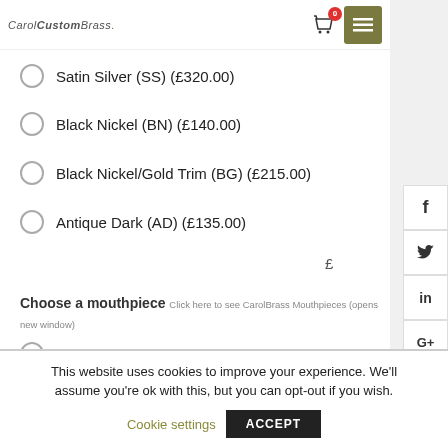CarolCustomBrass.
Satin Silver (SS) (£320.00)
Black Nickel (BN) (£140.00)
Black Nickel/Gold Trim (BG) (£215.00)
Antique Dark (AD) (£135.00)
Choose a mouthpiece  Click here to see CarolBrass Mouthpieces (opens new window)
7C
5C
This website uses cookies to improve your experience. We'll assume you're ok with this, but you can opt-out if you wish.
Cookie settings   ACCEPT